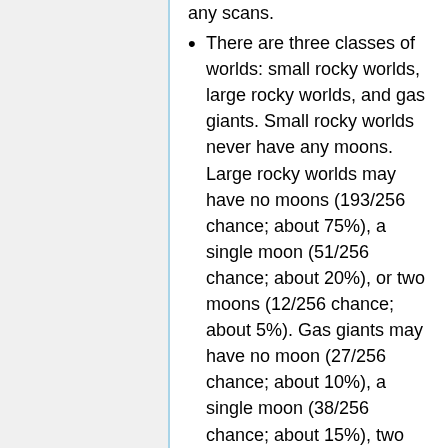any scans.
There are three classes of worlds: small rocky worlds, large rocky worlds, and gas giants. Small rocky worlds never have any moons. Large rocky worlds may have no moons (193/256 chance; about 75%), a single moon (51/256 chance; about 20%), or two moons (12/256 chance; about 5%). Gas giants may have no moon (27/256 chance; about 10%), a single moon (38/256 chance; about 15%), two moons (64/256 chance; 25%), 3 moons (64/256 chance; about 25%), or 4 moons (63/256 chance; about 25%). Moons themselves are always small rocky worlds.
Small rocky worlds are Oolite, Yttric, Quasi-Degenerate, Lanthanide,